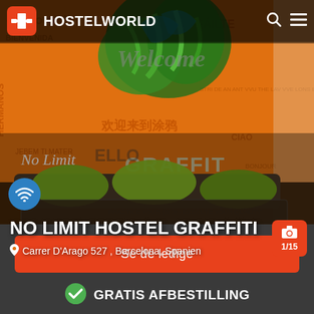HOSTELWORLD
[Figure (photo): Interior of No Limit Hostel Graffiti showing an orange wall covered in graffiti with 'Welcome' in multiple languages, green tropical plants, and a sofa with green cushions in the foreground]
NO LIMIT HOSTEL GRAFFITI
Carrer D'Arago 527 , Barcelona, Spanien
Se de ledige
GRATIS AFBESTILLING